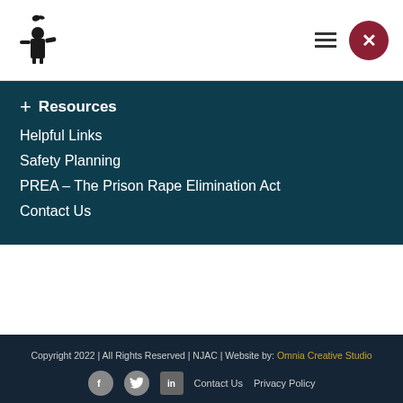[Figure (logo): NJAC logo with bird/figure and NJAC text]
+ Resources
Helpful Links
Safety Planning
PREA – The Prison Rape Elimination Act
Contact Us
Copyright 2022 | All Rights Reserved | NJAC | Website by: Omnia Creative Studio
Contact Us  Privacy Policy